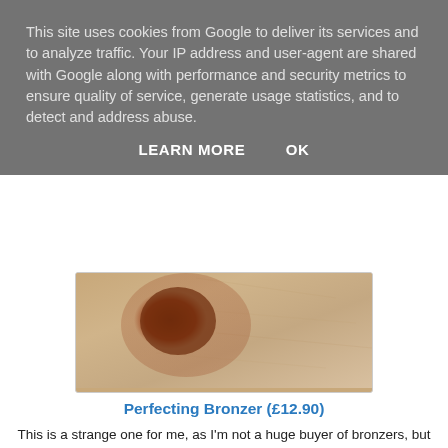This site uses cookies from Google to deliver its services and to analyze traffic. Your IP address and user-agent are shared with Google along with performance and security metrics to ensure quality of service, generate usage statistics, and to detect and address abuse.
LEARN MORE    OK
[Figure (photo): Close-up photo of a skin swatch showing a bronzer product applied to pale skin, with a reddish-brown patch visible.]
Perfecting Bronzer (£12.90)
This is a strange one for me, as I'm not a huge buyer of bronzers, but I just couldn't resist. Firstly the product packaging is rose gold and just stunning, but the product it self was just so different. It is mainly bronzer, but in the center is a highlight powder. I picked up mine in medium as the light seemed too reddish toned, this meant that the